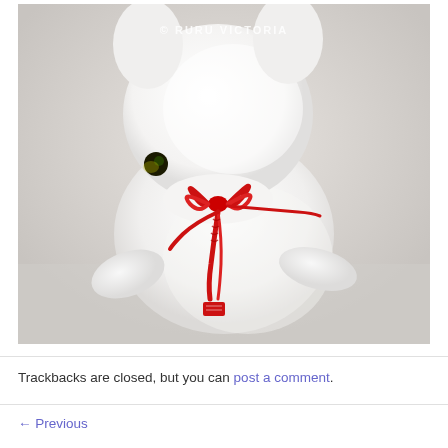[Figure (photo): A white plush toy animal (rabbit/seal-like) photographed from behind, showing a decorative red braided cord tied in a bow at the back. The toy has a small black eye visible on the left side. A red tag hangs from the cord at the bottom. The background is light gray/white. A white copyright watermark '© RURU VICTORIA' appears near the top center of the image.]
Trackbacks are closed, but you can post a comment.
← Previous